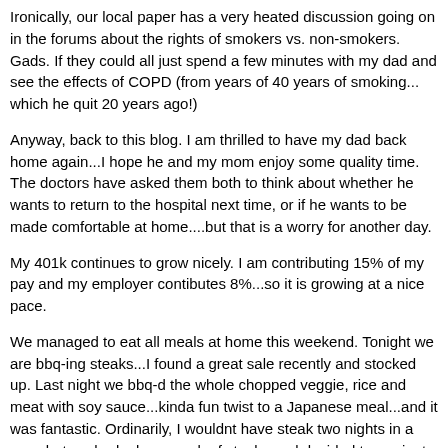Ironically, our local paper has a very heated discussion going on in the forums about the rights of smokers vs. non-smokers. Gads. If they could all just spend a few minutes with my dad and see the effects of COPD (from years of 40 years of smoking... which he quit 20 years ago!)
Anyway, back to this blog. I am thrilled to have my dad back home again...I hope he and my mom enjoy some quality time. The doctors have asked them both to think about whether he wants to return to the hospital next time, or if he wants to be made comfortable at home....but that is a worry for another day.
My 401k continues to grow nicely. I am contributing 15% of my pay and my employer contibutes 8%...so it is growing at a nice pace.
We managed to eat all meals at home this weekend. Tonight we are bbq-ing steaks...I found a great sale recently and stocked up. Last night we bbq-d the whole chopped veggie, rice and meat with soy sauce...kinda fun twist to a Japanese meal...and it was fantastic. Ordinarily, I wouldnt have steak two nights in a row...but we had a large pack of steaks and decided to marinate the remainder in a Chicago marinade (yum) for tonight.
Besides...my dad will be home and he loves bbq-d steak.
I am still LOVING my job. I am enjoying the people I work with and having such a wonderful time learning my new duties...I can't believe I've been